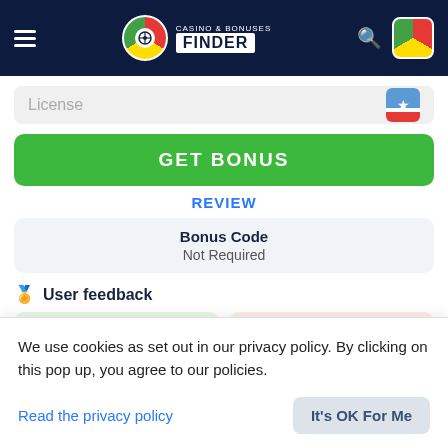Casino & Bonuses Finder
License
GET BONUS
REVIEW
Bonus Code
Not Required
User feedback
54 GOOD
12 BAD
18+, new players only
We use cookies as set out in our privacy policy. By clicking on this pop up, you agree to our policies.
Read the privacy policy
It's OK For Me